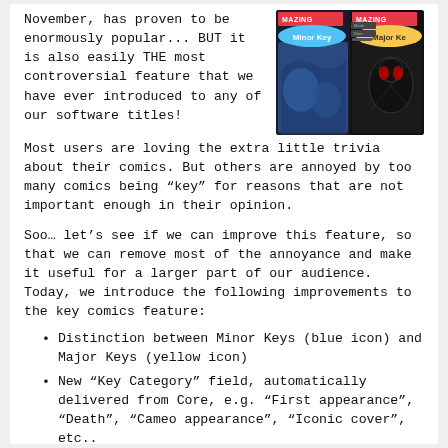November, has proven to be enormously popular... BUT it is also easily THE most controversial feature that we have ever introduced to any of our software titles!
[Figure (screenshot): Screenshot showing Minor Key (blue label) and Major Key (yellow label) comic book interface panels with comic artwork visible]
Most users are loving the extra little trivia about their comics. But others are annoyed by too many comics being “key” for reasons that are not important enough in their opinion.
Soo... let’s see if we can improve this feature, so that we can remove most of the annoyance and make it useful for a larger part of our audience. Today, we introduce the following improvements to the key comics feature:
Distinction between Minor Keys (blue icon) and Major Keys (yellow icon)
New “Key Category” field, automatically delivered from Core, e.g. “First appearance”, “Death”, “Cameo appearance”, “Iconic cover”, etc..
New “Update Key Info” tool in the CLZ Core, that is fully configurable (Minor/Major Keys, Allow